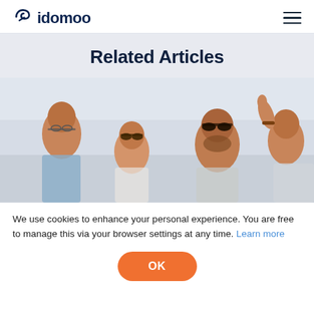idomoo
Related Articles
[Figure (photo): Group of four people wearing sunglasses and smiling, photographed outdoors against a light sky background.]
We use cookies to enhance your personal experience. You are free to manage this via your browser settings at any time. Learn more
OK